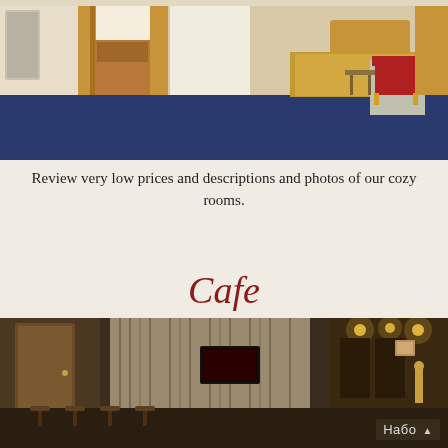[Figure (photo): Hotel room interior with blue carpet, bed with golden cover, wardrobe, desk, red chair, curtains and radiator]
Review very low prices and descriptions and photos of our cozy rooms.
Cafe
[Figure (photo): Cafe interior with birch-log wall decoration, TV screen mounted on wall, bar counter with stools, dark wood furnishings and warm lighting]